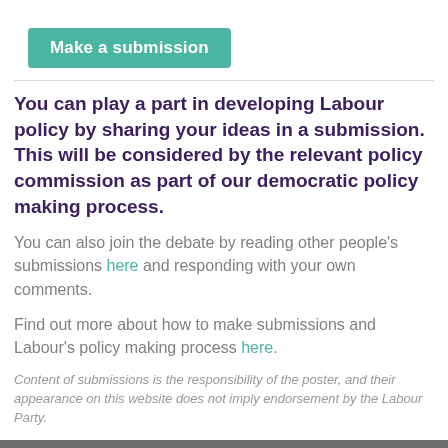Make a submission
You can play a part in developing Labour policy by sharing your ideas in a submission. This will be considered by the relevant policy commission as part of our democratic policy making process.
You can also join the debate by reading other people's submissions here and responding with your own comments.
Find out more about how to make submissions and Labour's policy making process here.
Content of submissions is the responsibility of the poster, and their appearance on this website does not imply endorsement by the Labour Party.
Search Keywords
All users